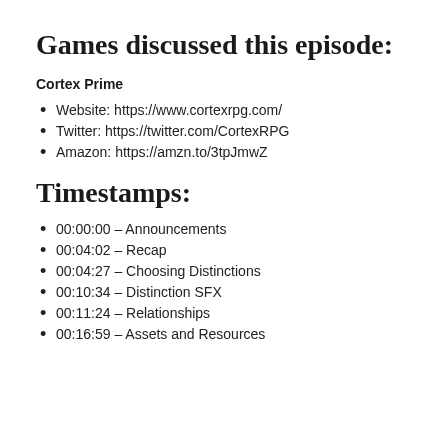Games discussed this episode:
Cortex Prime
Website: https://www.cortexrpg.com/
Twitter: https://twitter.com/CortexRPG
Amazon: https://amzn.to/3tpJmwZ
Timestamps:
00:00:00 – Announcements
00:04:02 – Recap
00:04:27 – Choosing Distinctions
00:10:34 – Distinction SFX
00:11:24 – Relationships
00:16:59 – Assets and Resources